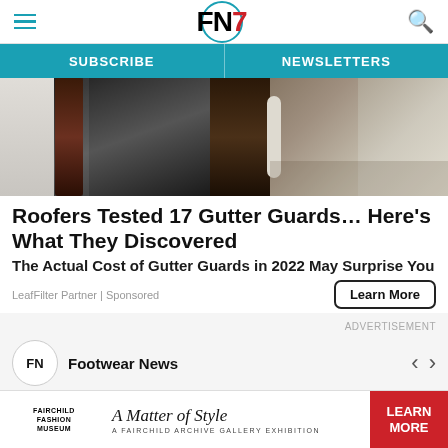FN7 — Footwear News navigation bar with hamburger menu and search icon
SUBSCRIBE | NEWSLETTERS
[Figure (photo): Close-up photo of dirty gutters with debris, shown in two panels]
Roofers Tested 17 Gutter Guards… Here's What They Discovered
The Actual Cost of Gutter Guards in 2022 May Surprise You
LeafFilter Partner | Sponsored
Learn More
ADVERTISEMENT
FN Footwear News
[Figure (screenshot): Footwear News social/ad card with FN logo avatar, navigation arrows, and preview image strips in pink and dark blue]
[Figure (logo): Fairchild Fashion Museum banner ad — A Matter of Style: A Fairchild Archive Gallery Exhibition — with LEARN MORE button in red]